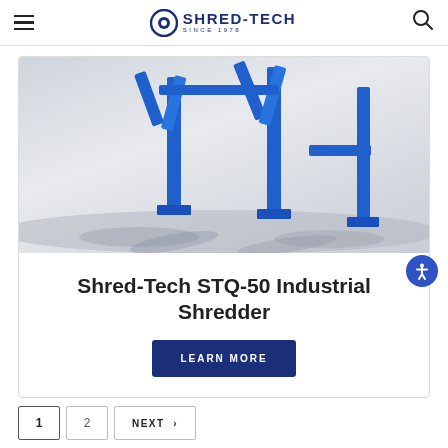Shred-Tech — Since 1978
[Figure (photo): 3D render of Shred-Tech STQ-50 industrial shredder frame structure — blue metal frame with Y-shaped support legs casting shadows on a white/grey floor]
Shred-Tech STQ-50 Industrial Shredder
LEARN MORE
1   2   NEXT >